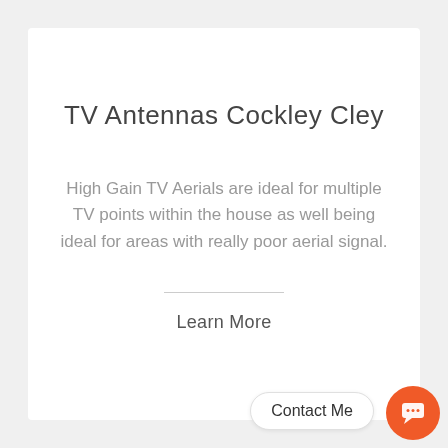TV Antennas Cockley Cley
High Gain TV Aerials are ideal for multiple TV points within the house as well being ideal for areas with really poor aerial signal.
Learn More
Contact Me